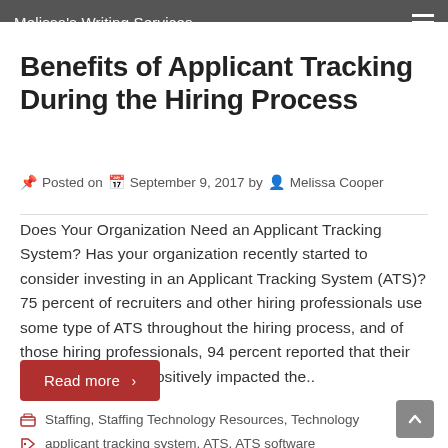Melissa's Writing Services
Benefits of Applicant Tracking During the Hiring Process
Posted on September 9, 2017 by Melissa Cooper
Does Your Organization Need an Applicant Tracking System? Has your organization recently started to consider investing in an Applicant Tracking System (ATS)? 75 percent of recruiters and other hiring professionals use some type of ATS throughout the hiring process, and of those hiring professionals, 94 percent reported that their ATS software has positively impacted the..
Read more >
Staffing, Staffing Technology Resources, Technology
applicant tracking system, ATS, ATS software